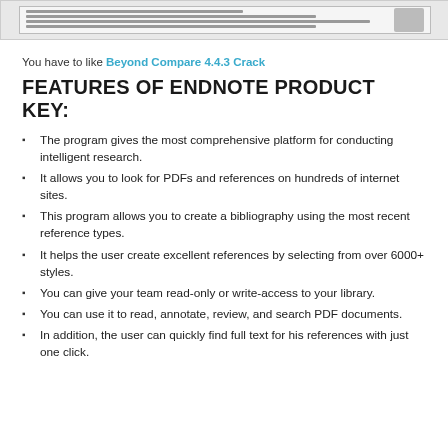[Figure (screenshot): Thumbnail/screenshot of a document or PDF viewer at the top of the page]
You have to like Beyond Compare 4.4.3 Crack
FEATURES OF ENDNOTE PRODUCT KEY:
The program gives the most comprehensive platform for conducting intelligent research.
It allows you to look for PDFs and references on hundreds of internet sites.
This program allows you to create a bibliography using the most recent reference types.
It helps the user create excellent references by selecting from over 6000+ styles.
You can give your team read-only or write-access to your library.
You can use it to read, annotate, review, and search PDF documents.
In addition, the user can quickly find full text for his references with just one click.